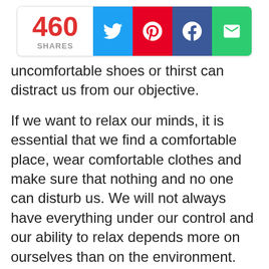[Figure (infographic): Social share bar showing 460 shares with Twitter, Pinterest, Facebook, and Email buttons]
uncomfortable shoes or thirst can distract us from our objective.
If we want to relax our minds, it is essential that we find a comfortable place, wear comfortable clothes and make sure that nothing and no one can disturb us. We will not always have everything under our control and our ability to relax depends more on ourselves than on the environment. Even so, it is preferable that we try (especially at the beginning) to have everything in our favor in order to find the minimum number of obstacles possible.